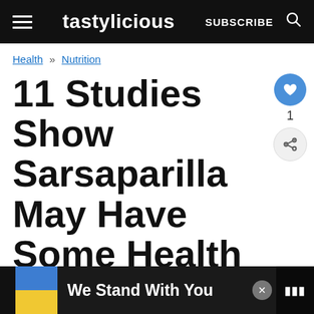tastylicious  SUBSCRIBE
Health » Nutrition
11 Studies Show Sarsaparilla May Have Some Health Benefits
Updated: Jul 18, 2017 by Sonja Ristevski
[Figure (screenshot): WHAT'S NEXT → 7 Substitutes for HelloFre...]
[Figure (infographic): We Stand With You - Ukraine flag colors advertisement bar]